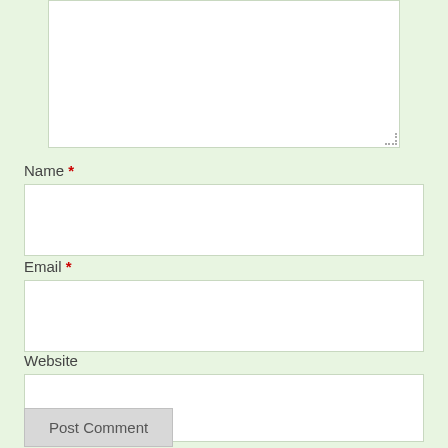[Figure (screenshot): Large textarea input box at the top of the page, white background with light green-gray border, resize handle at bottom right]
Name *
[Figure (screenshot): Name input field, white rectangle with light border]
Email *
[Figure (screenshot): Email input field, white rectangle with light border]
Website
[Figure (screenshot): Website input field, white rectangle with light border]
Post Comment